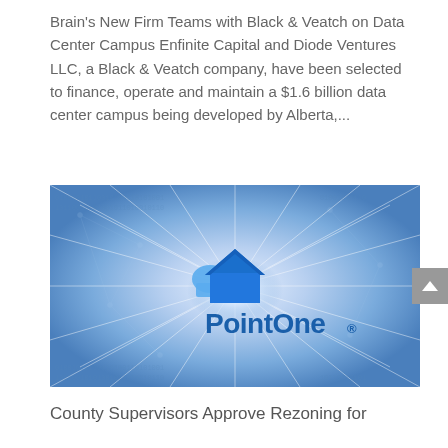Brain's New Firm Teams with Black & Veatch on Data Center Campus Enfinite Capital and Diode Ventures LLC, a Black & Veatch company, have been selected to finance, operate and maintain a $1.6 billion data center campus being developed by Alberta,...
[Figure (logo): PointOne logo on a blue radiant burst background with light rays emanating from center, with geometric network lines overlay. The PointOne wordmark and house/cloud icon appear in the center.]
County Supervisors Approve Rezoning for